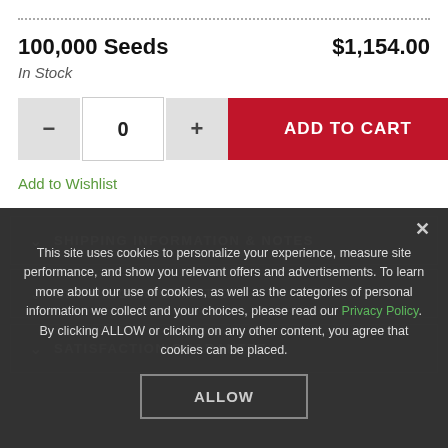100,000 Seeds
$1,154.00
In Stock
0
ADD TO CART
Add to Wishlist
This site uses cookies to personalize your experience, measure site performance, and show you relevant offers and advertisements. To learn more about our use of cookies, as well as the categories of personal information we collect and your choices, please read our Privacy Policy. By clicking ALLOW or clicking on any other content, you agree that cookies can be placed.
SHIPPING INFORMATION & NOTES
GROWING INFORMATION
ALLOW
SATISFACTION GUARANTEE